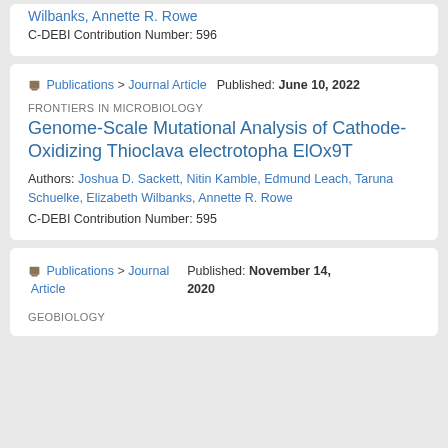Wilbanks, Annette R. Rowe
C-DEBI Contribution Number: 596
Publications > Journal Article   Published: June 10, 2022
FRONTIERS IN MICROBIOLOGY
Genome-Scale Mutational Analysis of Cathode-Oxidizing Thioclava electrotopha ElOx9T
Authors: Joshua D. Sackett, Nitin Kamble, Edmund Leach, Taruna Schuelke, Elizabeth Wilbanks, Annette R. Rowe
C-DEBI Contribution Number: 595
Publications > Journal Article   Published: November 14, 2020
GEOBIOLOGY